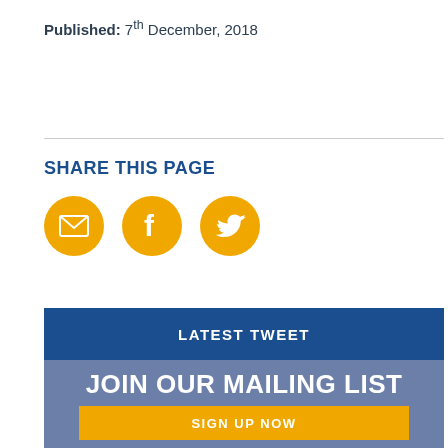Published: 7th December, 2018
SHARE THIS PAGE
[Figure (infographic): Three circular golden/yellow social share buttons: email envelope, Facebook f icon, Twitter bird icon]
LATEST TWEET
JOIN OUR MAILING LIST
SIGN UP NOW